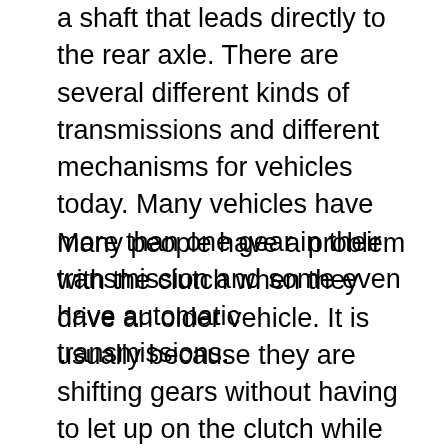a shaft that leads directly to the rear axle. There are several different kinds of transmissions and different mechanisms for vehicles today. Many vehicles have more than one gear in their transmission and some even have automatic transmissions.
Many people have a problem with the clutch when they drive an older vehicle. It is usually because they are shifting gears without having to let up on the clutch while they do it. It causes the engine to have to work harder and use more fuel. When you feel that your vehicle is not using very much fuel, look at your driving habits and see if you are trying to use too many gears or if you require the engine to lug through a lot of shifts instead of letting up on the clutch for a few moments before shifting the the the again.